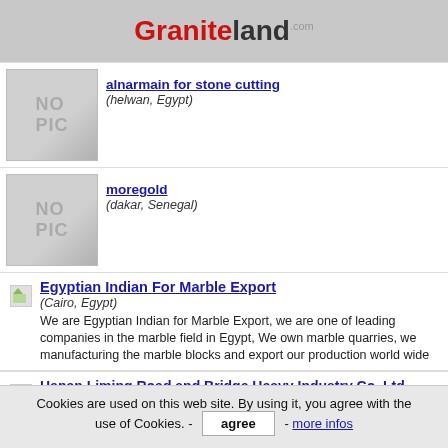Graniteland.com
alnarmain for stone cutting (helwan, Egypt)
moregold (dakar, Senegal)
Egyptian Indian For Marble Export (Cairo, Egypt) - We are Egyptian Indian for Marble Export, we are one of leading companies in the marble field in Egypt, We own marble quarries, we manufacturing the marble blocks and export our production world wide
Henan Liming Road and Bridge Heavy Industry Co.,Ltd.
Cookies are used on this web site. By using it, you agree with the use of Cookies. - agree - more infos